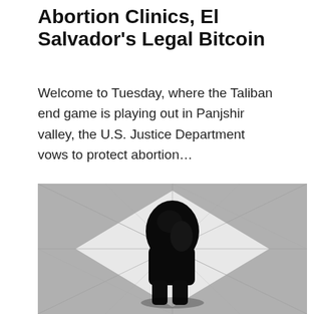Abortion Clinics, El Salvador's Legal Bitcoin
Welcome to Tuesday, where the Taliban end game is playing out in Panjshir valley, the U.S. Justice Department vows to protect abortion…
[Figure (photo): Overhead/aerial black and white photo of a person dressed in black standing on a checkered tile floor, shot from above. The person's figure is a dark silhouette against a grey and white diamond-patterned tile surface.]